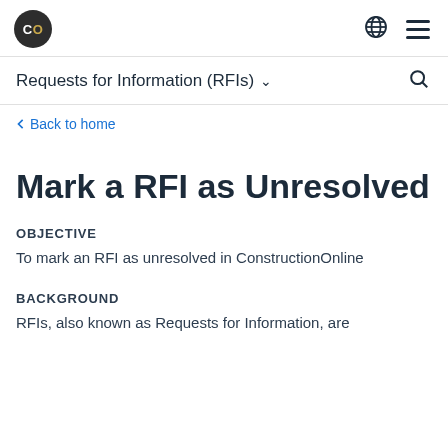CO [logo] | [globe icon] [menu icon]
Requests for Information (RFIs) ▾ [search icon]
‹ Back to home
Mark a RFI as Unresolved
OBJECTIVE
To mark an RFI as unresolved in ConstructionOnline
BACKGROUND
RFIs, also known as Requests for Information, are